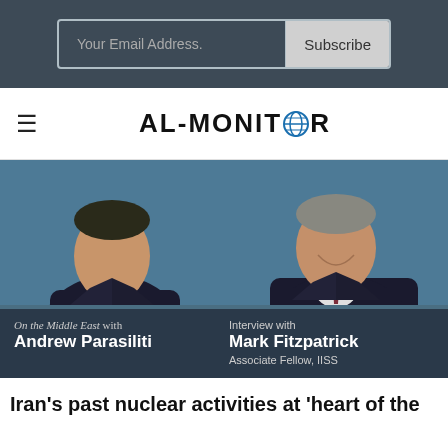Your Email Address. | Subscribe
AL-MONITOR
[Figure (photo): Two men in suits - Andrew Parasiliti and Mark Fitzpatrick - photographed from shoulders up against a dark blue background. Left man wears blue tie, right man wears dark red/maroon tie.]
On the Middle East with Andrew Parasiliti | Interview with Mark Fitzpatrick, Associate Fellow, IISS
Iran's past nuclear activities at 'heart of the